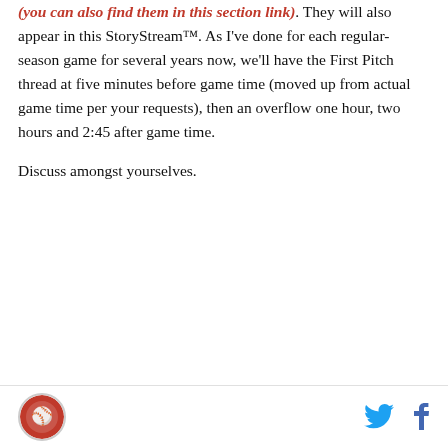(you can also find them in this section link). They will also appear in this StoryStream™. As I've done for each regular-season game for several years now, we'll have the First Pitch thread at five minutes before game time (moved up from actual game time per your requests), then an overflow one hour, two hours and 2:45 after game time.
Discuss amongst yourselves.
[Figure (infographic): DraftKings Sportsbook betting widget. Header with 'Bet Now!' button on green background and DraftKings Sportsbook logo. Player: Willson Contreras. Bet: O/U Total Home Runs (vs. STL), value: 0.5]
Footer with site logo circle and Twitter/Facebook share icons